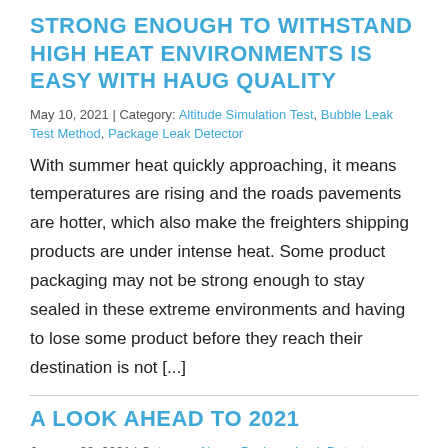STRONG ENOUGH TO WITHSTAND HIGH HEAT ENVIRONMENTS IS EASY WITH HAUG QUALITY
May 10, 2021 | Category: Altitude Simulation Test, Bubble Leak Test Method, Package Leak Detector
With summer heat quickly approaching, it means temperatures are rising and the roads pavements are hotter, which also make the freighters shipping products are under intense heat. Some product packaging may not be strong enough to stay sealed in these extreme environments and having to lose some product before they reach their destination is not [...]
A LOOK AHEAD TO 2021
January 29, 2021 | Category: News, Package Leak Detector